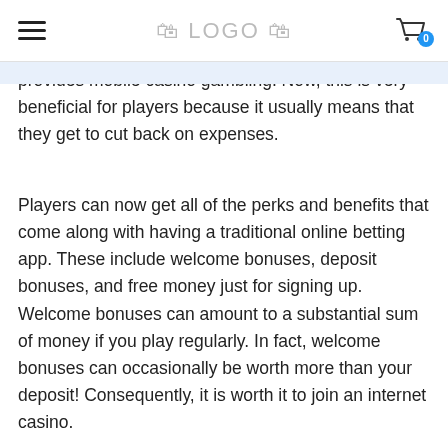≡  [LOGO]  🛒 0
provides mobile casino gambling. Now, this is very beneficial for players because it usually means that they get to cut back on expenses.
Players can now get all of the perks and benefits that come along with having a traditional online betting app. These include welcome bonuses, deposit bonuses, and free money just for signing up. Welcome bonuses can amount to a substantial sum of money if you play regularly. In fact, welcome bonuses can occasionally be worth more than your deposit! Consequently, it is worth it to join an internet casino.
Along with getting special welcome bonuses, players will